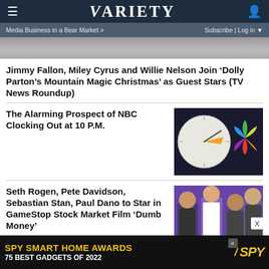VARIETY
Media Business in a Bear Market > | Subscribe | Log in
[Figure (photo): Partial hero image at top of page]
Jimmy Fallon, Miley Cyrus and Willie Nelson Join ‘Dolly Parton’s Mountain Magic Christmas’ as Guest Stars (TV News Roundup)
The Alarming Prospect of NBC Clocking Out at 10 P.M.
[Figure (photo): NBC peacock logo clock illustration]
Seth Rogen, Pete Davidson, Sebastian Stan, Paul Dano to Star in GameStop Stock Market Film ‘Dumb Money’
[Figure (photo): Photo of Seth Rogen, Pete Davidson, Sebastian Stan, Paul Dano at an awards event]
SPY SMART HOME AWARDS 75 BEST GADGETS OF 2022 / SPY